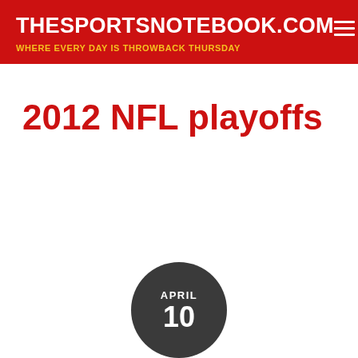THESPORTSNOTEBOOK.COM — WHERE EVERY DAY IS THROWBACK THURSDAY
2012 NFL playoffs
APRIL 10